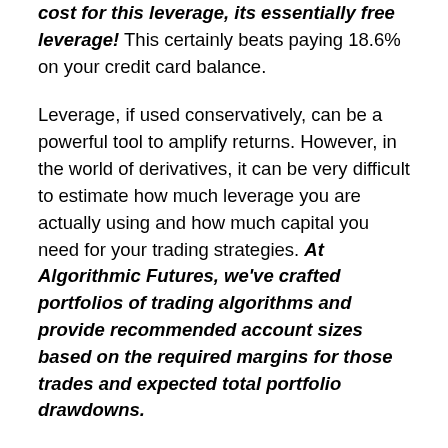cost for this leverage, its essentially free leverage! This certainly beats paying 18.6% on your credit card balance.
Leverage, if used conservatively, can be a powerful tool to amplify returns. However, in the world of derivatives, it can be very difficult to estimate how much leverage you are actually using and how much capital you need for your trading strategies. At Algorithmic Futures, we've crafted portfolios of trading algorithms and provide recommended account sizes based on the required margins for those trades and expected total portfolio drawdowns.
Algorithmic Futures optimizes the